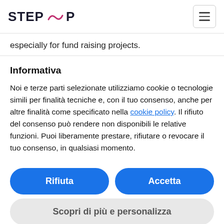STEP UP
especially for fund raising projects.
Informativa
Noi e terze parti selezionate utilizziamo cookie o tecnologie simili per finalità tecniche e, con il tuo consenso, anche per altre finalità come specificato nella cookie policy. Il rifiuto del consenso può rendere non disponibili le relative funzioni. Puoi liberamente prestare, rifiutare o revocare il tuo consenso, in qualsiasi momento.
Rifiuta
Accetta
Scopri di più e personalizza